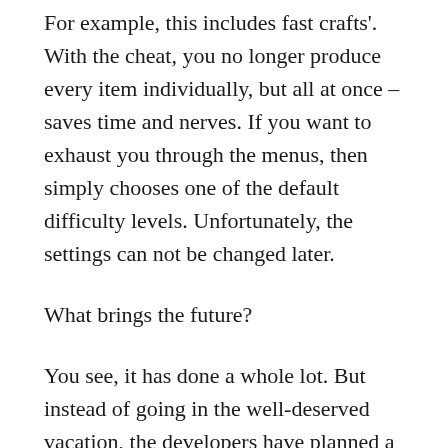For example, this includes fast crafts'. With the cheat, you no longer produce every item individually, but all at once – saves time and nerves. If you want to exhaust you through the menus, then simply chooses one of the default difficulty levels. Unfortunately, the settings can not be changed later.
What brings the future?
You see, it has done a whole lot. But instead of going in the well-deserved vacation, the developers have planned a lot and presented a roadmap for the time after release.
This year, a third-person perspective will be introduced and in the first quarter of the next year will follow further content in the form of decorations, birds and